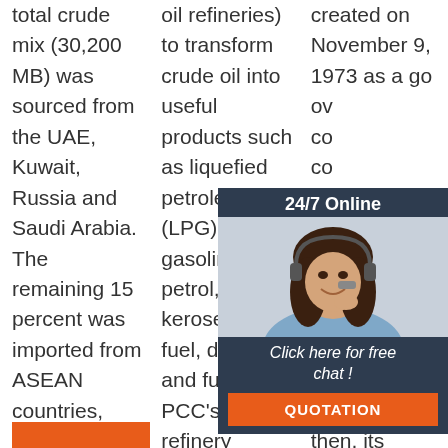total crude mix (30,200 MB) was sourced from the UAE, Kuwait, Russia and Saudi Arabia. The remaining 15 percent was imported from ASEAN countries, Australia, Taiwan and South Korea.
oil refineries) to transform crude oil into useful products such as liquefied petroleum gas (LPG), gasoline or petrol, kerosene, jet fuel, diesel oil and fuel oils. PCC's oil refinery usually consists of ...
created on November 9, 1973 as a go... ov... co... co... fo... m... Pr... Fe... M... supply oil to the Philippines. Since then, its charter has been
[Figure (photo): Advertisement overlay: 24/7 Online chat support with woman wearing headset, orange QUOTATION button]
[Figure (logo): TOP logo with orange dots arranged in triangle]